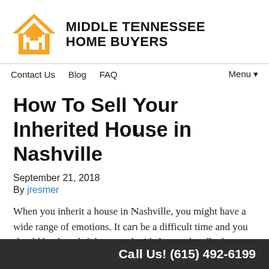[Figure (logo): Middle Tennessee Home Buyers logo: orange house icon with white door/window cutout, beside bold black text 'MIDDLE TENNESSEE HOME BUYERS']
Contact Us   Blog   FAQ   Menu ▼
How To Sell Your Inherited House in Nashville
September 21, 2018
By jresmer
When you inherit a house in Nashville, you might have a wide range of emotions. It can be a difficult time and you should be thoughtful as you decide how to handle the property. You might feel attached to the house out of
Call Us! (615) 492-6199